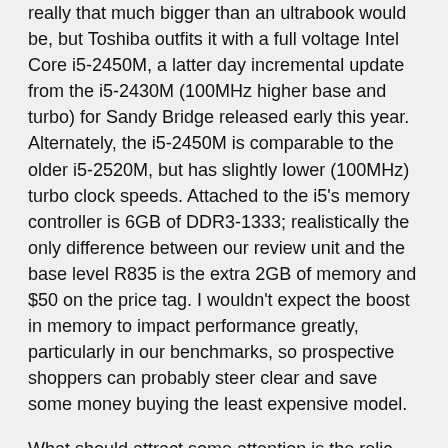really that much bigger than an ultrabook would be, but Toshiba outfits it with a full voltage Intel Core i5-2450M, a latter day incremental update from the i5-2430M (100MHz higher base and turbo) for Sandy Bridge released early this year. Alternately, the i5-2450M is comparable to the older i5-2520M, but has slightly lower (100MHz) turbo clock speeds. Attached to the i5's memory controller is 6GB of DDR3-1333; realistically the only difference between our review unit and the base level R835 is the extra 2GB of memory and $50 on the price tag. I wouldn't expect the boost in memory to impact performance greatly, particularly in our benchmarks, so prospective shoppers can probably steer clear and save some money buying the least expensive model.
What should attract some attention is the relic sitting in the 2.5" drive bay. We get a lot of higher end systems in for review, and with the push for ultrabooks we've gotten so used to seeing SSDs in notebooks that it's surprising to see a mechanical hard disk in a machine, much less one as slow as the 640GB, 5400RPM drive by Hitachi that occupies the R835. Thankfully it's user replaceable, but using a slower drive is a shock to the system when you've been playing with machines that come equipped with SSDs.
One of the major points where the Portege R835 sets itself apart is